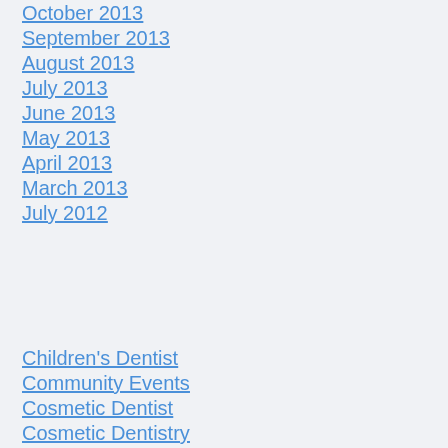October 2013
September 2013
August 2013
July 2013
June 2013
May 2013
April 2013
March 2013
July 2012
Children's Dentist
Community Events
Cosmetic Dentist
Cosmetic Dentistry
Dental implants
Dental Sedation